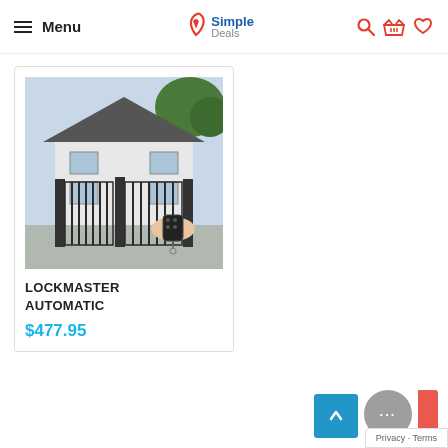Menu | Simple Deals | [search] [cart] [wishlist]
[Figure (photo): Product card showing an automatic gate with a hand holding a remote control, with a house in the background. Product: LOCKMASTER AUTOMATIC, Price: $477.95]